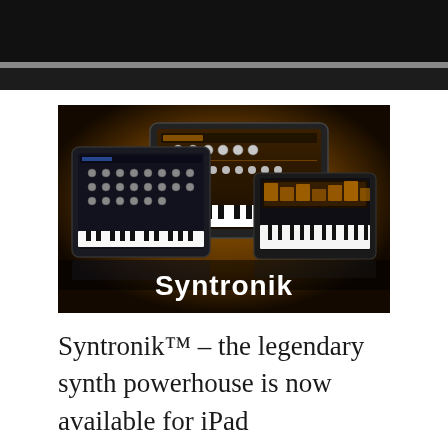[Figure (screenshot): Syntronik app promotional image showing three iPad/tablet screens displaying synthesizer interfaces with keyboards, knobs and controls against an orange glow background, with the Syntronik logo in white text at the bottom]
Syntronik™ – the legendary synth powerhouse is now available for iPad